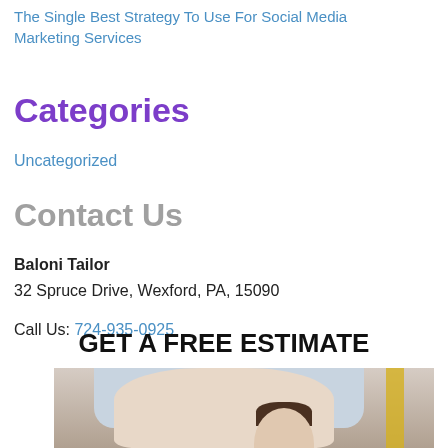The Single Best Strategy To Use For Social Media Marketing Services
Categories
Uncategorized
Contact Us
Baloni Tailor
32 Spruce Drive, Wexford, PA, 15090

Call Us: 724-935-0925
GET A FREE ESTIMATE
[Figure (photo): Photo of a person in a striped shirt working at a desk, with another person visible, and a measuring tape in the background.]